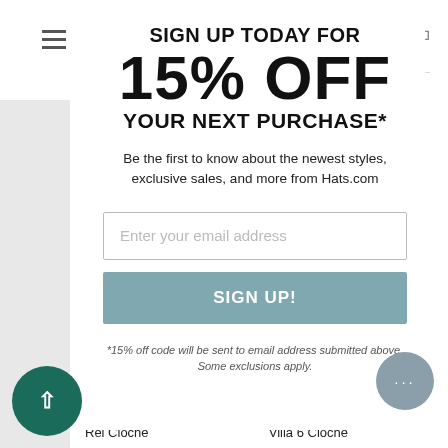SIGN UP TODAY FOR 15% OFF YOUR NEXT PURCHASE*
Be the first to know about the newest styles, exclusive sales, and more from Hats.com
[Figure (other): Email input field with placeholder text 'Enter your email address']
[Figure (other): Teal/slate blue SIGN UP! button]
*15% off code will be sent to email address submitted above. Some exclusions apply.
Rei Cloche                    Villa 6 Cloche